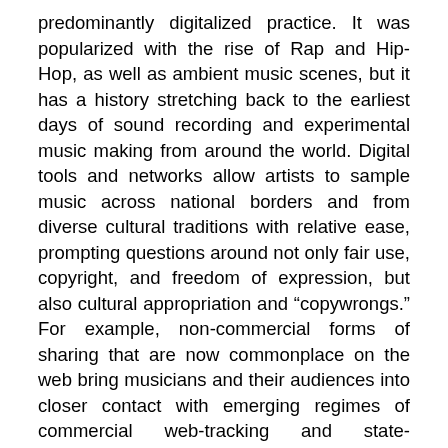predominantly digitalized practice. It was popularized with the rise of Rap and Hip-Hop, as well as ambient music scenes, but it has a history stretching back to the earliest days of sound recording and experimental music making from around the world. Digital tools and networks allow artists to sample music across national borders and from diverse cultural traditions with relative ease, prompting questions around not only fair use, copyright, and freedom of expression, but also cultural appropriation and "copywrongs." For example, non-commercial forms of sharing that are now commonplace on the web bring musicians and their audiences into closer contact with emerging regimes of commercial web-tracking and state-sponsored online surveillance. Moreover, when musicians actively engage in political or social causes through their music, they are liable to both commercial and state forces of